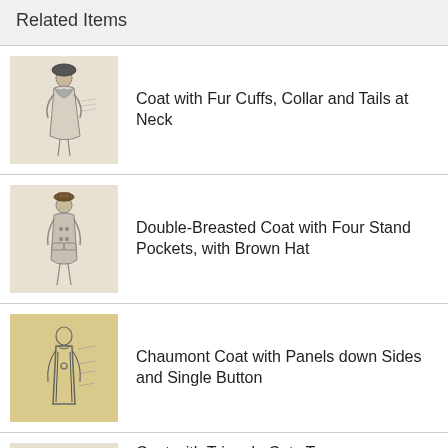Related Items
Coat with Fur Cuffs, Collar and Tails at Neck
Double-Breasted Coat with Four Stand Pockets, with Brown Hat
Chaumont Coat with Panels down Sides and Single Button
Coat with Triangle Cuts To Give Fullness and Back with…